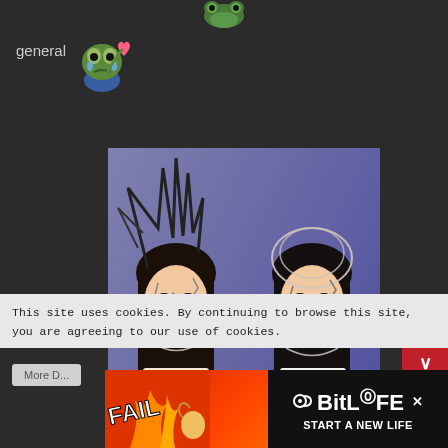[Figure (illustration): Pepe the frog emoji at top center of dark background]
general
[Figure (illustration): Pepe the frog crying with pink heart emoji next to the word 'general']
[Figure (photo): Two K-pop style female performers side by side with elaborate headdresses, face jewels and stylized makeup against a purple-blue background]
[Figure (illustration): Red navigation arrows (up and down) on dark red background on the right side]
This site uses cookies. By continuing to browse this site, you are agreeing to our use of cookies.
[Figure (screenshot): Advertisement banner for BitLife game showing FAIL text with cartoon character and flame, BitLife logo with START A NEW LIFE text]